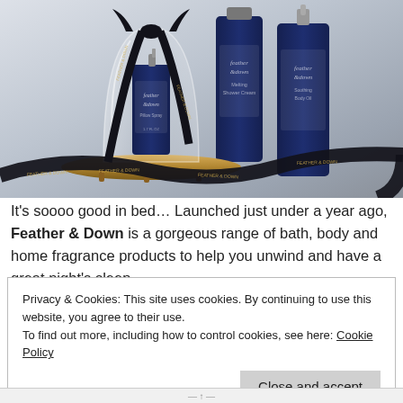[Figure (photo): Photo of Feather & Down branded bath and body products: a small spray bottle under a glass bell jar on a gold tray, a tall tube and a body oil bottle behind it, with a black ribbon decorated with gold Feather & Down text winding through the scene. Light grey background.]
It's soooo good in bed... Launched just under a year ago, Feather & Down is a gorgeous range of bath, body and home fragrance products to help you unwind and have a great night's sleep.
Privacy & Cookies: This site uses cookies. By continuing to use this website, you agree to their use.
To find out more, including how to control cookies, see here: Cookie Policy
Close and accept